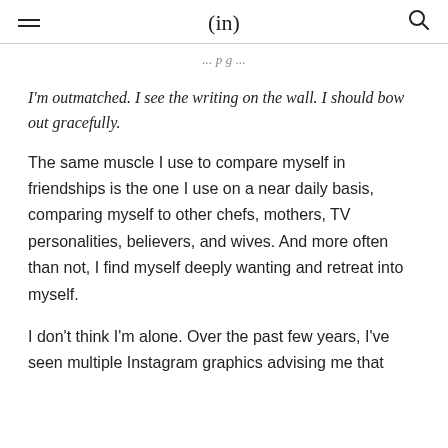(in)
I'm outmatched. I see the writing on the wall. I should bow out gracefully.
The same muscle I use to compare myself in friendships is the one I use on a near daily basis, comparing myself to other chefs, mothers, TV personalities, believers, and wives. And more often than not, I find myself deeply wanting and retreat into myself.
I don't think I'm alone. Over the past few years, I've seen multiple Instagram graphics advising me that